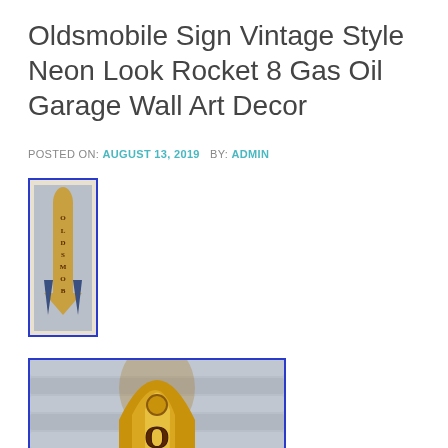Oldsmobile Sign Vintage Style Neon Look Rocket 8 Gas Oil Garage Wall Art Decor
POSTED ON: AUGUST 13, 2019   BY: ADMIN
[Figure (photo): Small thumbnail photo of a vertical Oldsmobile rocket sign with blue border]
[Figure (photo): Large photo showing close-up of vertical gold/yellow Oldsmobile rocket-shaped sign with letters O-L-D-S-M-O-B visible, against gray slatted background, with blue border]